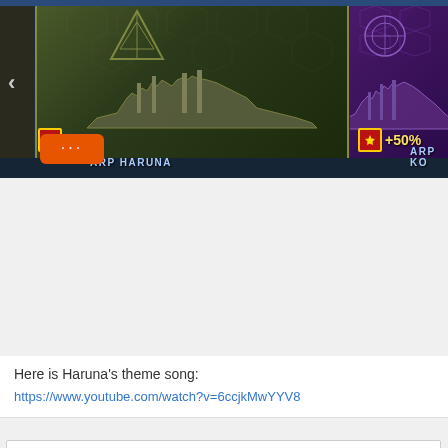[Figure (screenshot): World of Warships game screenshot showing ARP Haruna and ARP Ko ships with +50% bonus badges, olive/purple themed cards, and an orange chat button with ellipsis]
Here is Haruna's theme song:
https://www.youtube.com/watch?v=6ccjkMwYYV8
16  Meetings, Gatherings, and Get Togethers / Re: Meet up? New friends
« on: May 26, 2016, 06:04:13 PM »
Hey, I will be attending the con alone as well, so I'd love to meet some new people. I'll be there from Saturday-Monday. I can't make it on Friday.
17  Things in the Universe / Re: Dying without Fanime
« on: May 26, 2016, 03:18:30 PM »
I feel you. I won't be able to make it on Friday but I'll be there the rest of the weekend. This year, the days leading up feel so long. Last year, Fanime came so quick for me.